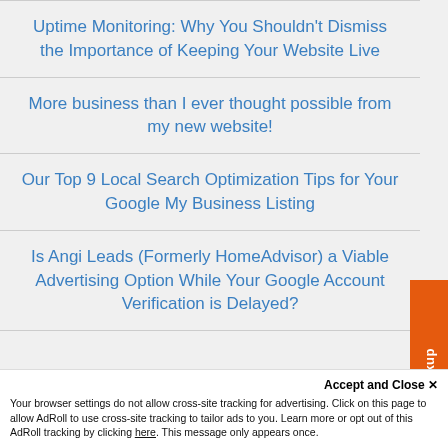Uptime Monitoring: Why You Shouldn't Dismiss the Importance of Keeping Your Website Live
More business than I ever thought possible from my new website!
Our Top 9 Local Search Optimization Tips for Your Google My Business Listing
Is Angi Leads (Formerly HomeAdvisor) a Viable Advertising Option While Your Google Account Verification is Delayed?
Free Web Checkup
Accept and Close ✕
Your browser settings do not allow cross-site tracking for advertising. Click on this page to allow AdRoll to use cross-site tracking to tailor ads to you. Learn more or opt out of this AdRoll tracking by clicking here. This message only appears once.